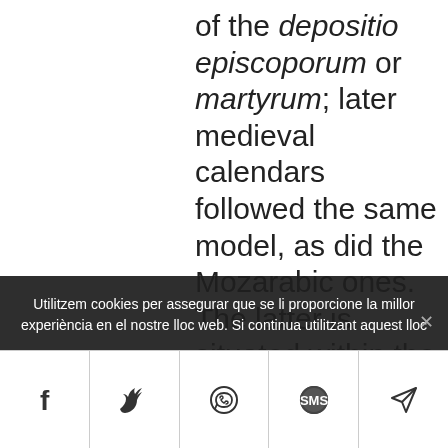of the depositio episcoporum or martyrum; later medieval calendars followed the same model, as did the Mozarabic ones. The latter is situated within the copious classical and
Utilitzem cookies per assegurar que se li proporcione la millor experiència en el nostre lloc web. Si continua utilitzant aquest lloc
[Figure (other): Social share bar with icons: Facebook (f), Twitter (bird), WhatsApp, SMS (speech bubble), and send/paper plane icons]